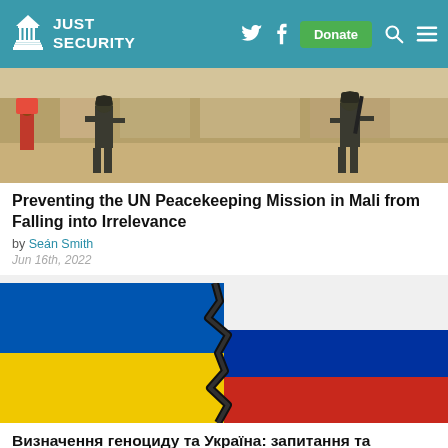Just Security | Navigation bar with Twitter, Facebook, Donate, Search, Menu
[Figure (photo): Two soldiers in military gear walking through a desert town, one holding a rifle]
Preventing the UN Peacekeeping Mission in Mali from Falling into Irrelevance
by Seán Smith
Jun 16th, 2022
[Figure (photo): Cracked wall painted with Ukrainian and Russian flags side by side]
Визначення геноциду та Україна: запитання та відповіді з колишнім послом Толлом Бухвальдом